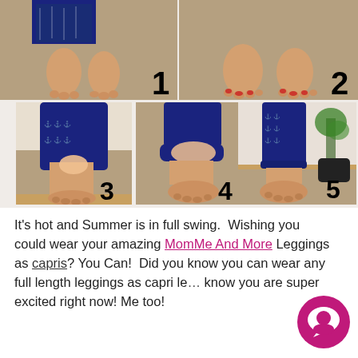[Figure (photo): Photo collage showing 5 numbered steps of converting full-length leggings to capri length. Top row: photos 1 and 2 showing bare feet on carpet with navy patterned leggings. Bottom row: photos 3, 4, and 5 showing hands folding/rolling up the leggings and the final capri result.]
It's hot and Summer is in full swing. Wishing you could wear your amazing MomMe And More Leggings as capris? You Can! Did you know you can wear any full length leggings as capri le... know you are super excited right now! Me too!